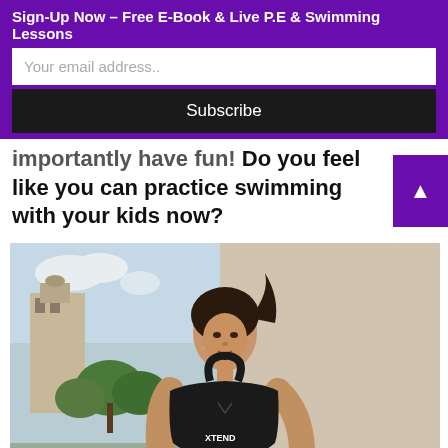Sign-Up Now – Free E-Book & Live P.E & Swimming Lessons
Your email address..
Subscribe
importantly have fun! Do you feel like you can practice swimming with your kids now?
[Figure (photo): Fit woman with dark hair in ponytail wearing a black XTEND sports bra, holding a supplement container, standing outdoors with a building and trees in the background]